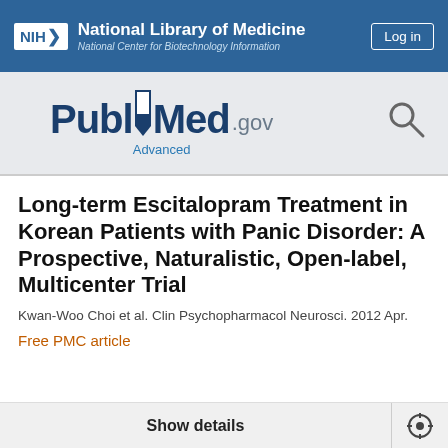NIH National Library of Medicine National Center for Biotechnology Information
[Figure (logo): PubMed.gov logo with Advanced search link and search icon]
Long-term Escitalopram Treatment in Korean Patients with Panic Disorder: A Prospective, Naturalistic, Open-label, Multicenter Trial
Kwan-Woo Choi et al. Clin Psychopharmacol Neurosci. 2012 Apr.
Free PMC article
Show details